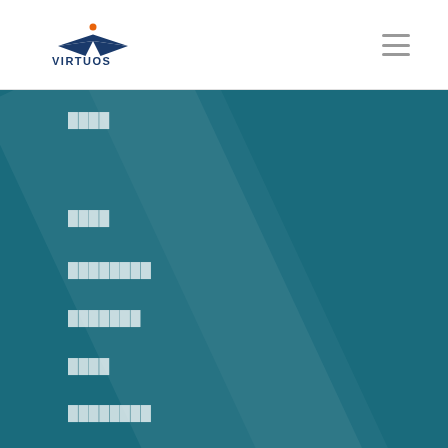[Figure (logo): Virtuos logo with orange and dark blue V-shaped bird icon and VIRTUOS text]
████
████
████████
███████
████
████████
████